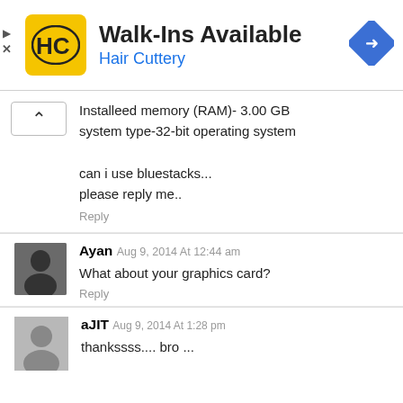[Figure (infographic): Hair Cuttery advertisement banner with HC logo, 'Walk-Ins Available' headline, and navigation arrow icon]
Installeed memory (RAM)- 3.00 GB
system type-32-bit operating system

can i use bluestacks...
please reply me..
Reply
Ayan
Aug 9, 2014 At 12:44 am
What about your graphics card?
Reply
aJIT Aug 9, 2014 At 1:28 pm
thankssss.... bro ...